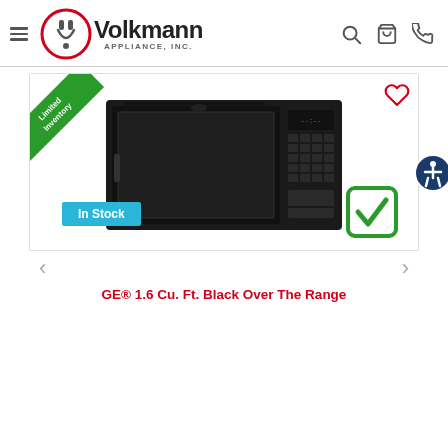Volkmann Appliance, Inc.
[Figure (logo): Volkmann Appliance, Inc. logo with plug icon]
[Figure (photo): GE black over-the-range microwave product photo with Limited Inventory badge, In Stock badge, heart wishlist icon, green checkmark availability icon, and accessibility button]
GE® 1.6 Cu. Ft. Black Over The Range